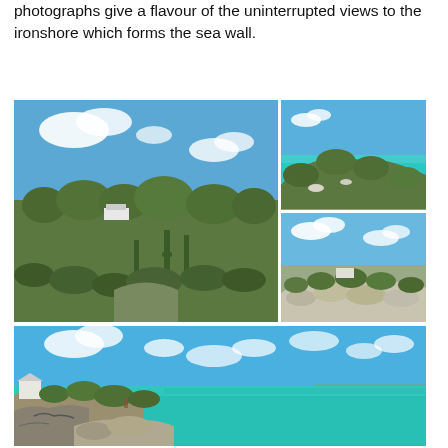photographs give a flavour of the uninterrupted views to the ironshore which forms the sea wall.
[Figure (photo): Large left photo: tropical scrubland vegetation with cacti and low shrubs under blue sky, a white structure visible in background]
[Figure (photo): Top right photo: hillside with low vegetation sloping down to vivid turquoise ocean water under blue sky]
[Figure (photo): Bottom right photo: rocky ironshore landscape with sparse vegetation under blue sky with white clouds]
[Figure (photo): Bottom large photo: coastal scene showing rocky ironshore cliff with turquoise Caribbean sea extending to horizon, white building visible at left, blue sky with scattered clouds]